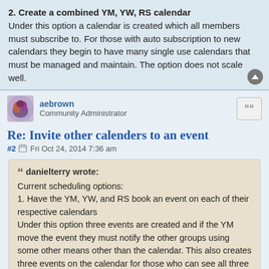2. Create a combined YM, YW, RS calendar
Under this option a calendar is created which all members must subscribe to. For those with auto subscription to new calendars they begin to have many single use calendars that must be managed and maintain. The option does not scale well.
aebrown
Community Administrator
Re: Invite other calenders to an event
#2  Fri Oct 24, 2014 7:36 am
danielterry wrote:
Current scheduling options:
1. Have the YM, YW, and RS book an event on each of their respective calendars
Under this option three events are created and if the YM move the event they must notify the other groups using some other means other than the calendar. This also creates three events on the calendar for those who can see all three groups, such as the bishop. This option clutters the calendar with unnecessary entries which represent the same event.
2. Create a combined YM, YW, RS calendar
Under this option a calendar is created which all members must